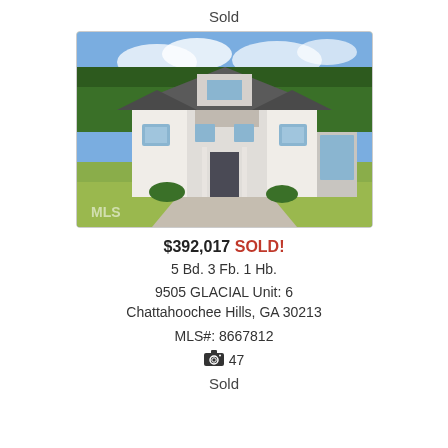Sold
[Figure (photo): Exterior photo of a large white modern farmhouse with gray roof, surrounded by trees and a lawn, with MLS watermark in the lower left corner]
$392,017 SOLD!
5 Bd. 3 Fb. 1 Hb.
9505 GLACIAL Unit: 6
Chattahoochee Hills, GA 30213
MLS#: 8667812
47
Sold